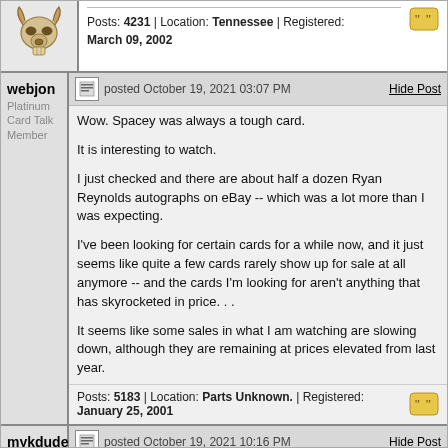[Figure (illustration): Bull skull avatar icon for previous poster]
Posts: 4231 | Location: Tennessee | Registered: March 09, 2002
webjon
Platinum Card Talk Member
posted October 19, 2021 03:07 PM
Hide Post
Wow. Spacey was always a tough card.

It is interesting to watch.

I just checked and there are about half a dozen Ryan Reynolds autographs on eBay -- which was a lot more than I was expecting.

I've been looking for certain cards for a while now, and it just seems like quite a few cards rarely show up for sale at all anymore -- and the cards I'm looking for aren't anything that has skyrocketed in price. . .

It seems like some sales in what I am watching are slowing down, although they are remaining at prices elevated from last year.
Posts: 5183 | Location: Parts Unknown. | Registered: January 25, 2001
mykdude
posted October 19, 2021 10:16 PM
Hide Post